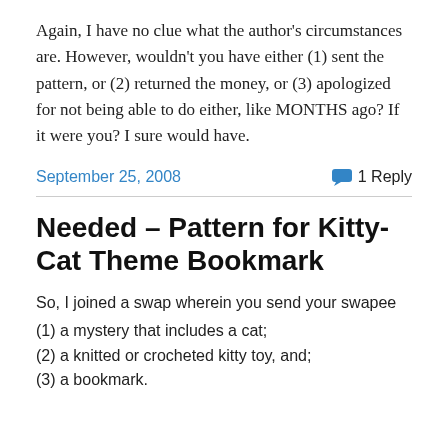Again, I have no clue what the author's circumstances are. However, wouldn't you have either (1) sent the pattern, or (2) returned the money, or (3) apologized for not being able to do either, like MONTHS ago? If it were you? I sure would have.
September 25, 2008
1 Reply
Needed – Pattern for Kitty-Cat Theme Bookmark
So, I joined a swap wherein you send your swapee
(1) a mystery that includes a cat;
(2) a knitted or crocheted kitty toy, and;
(3) a bookmark.